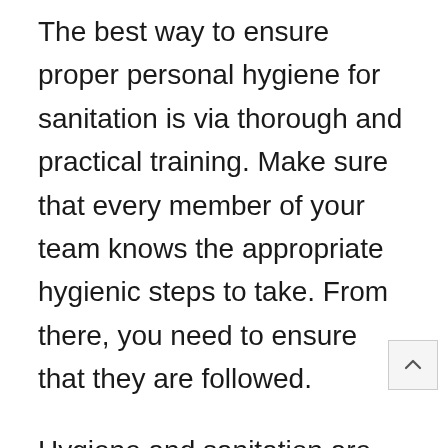The best way to ensure proper personal hygiene for sanitation is via thorough and practical training. Make sure that every member of your team knows the appropriate hygienic steps to take. From there, you need to ensure that they are followed.
Hygiene and sanitation are essential throughout the entire process from sourcing the ingredients until the customers receive their items. Also, they are most important before the